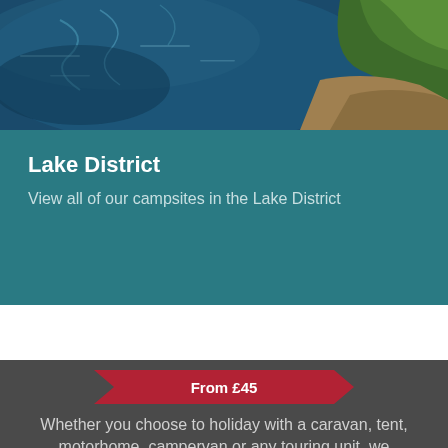[Figure (photo): Aerial or wide-angle photo of a lake with blue water and green/sandy shoreline, viewed from above]
Lake District
View all of our campsites in the Lake District
From £45
Join the Club
Whether you choose to holiday with a caravan, tent, motorhome, campervan or any touring unit, we